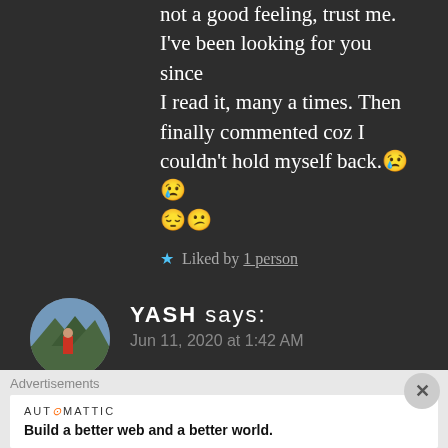not a good feeling, trust me. I've been looking for you since I read it, many a times. Then finally commented coz I couldn't hold myself back.😢😢😔😕
★ Liked by 1 person
YASH says: Jun 11, 2020 at 1:42 AM
Woww. That's spooky. I have this intuition thing. That
Advertisements
AUTOMATTIC Build a better web and a better world.